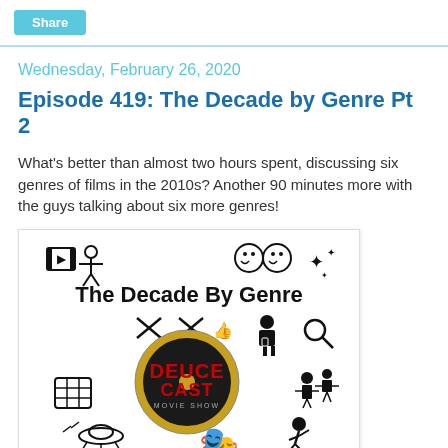Share
Wednesday, February 26, 2020
Episode 419: The Decade by Genre Pt 2
What's better than almost two hours spent, discussing six genres of films in the 2010s?  Another 90 minutes more with the guys talking about six more genres!
[Figure (illustration): Podcast episode artwork for The Decade By Genre, Ep 419 Part 2, featuring the Deucecast Movie Show logo in the center surrounded by various genre icons (smiley faces, action figures, theater masks, aliens, etc.)]